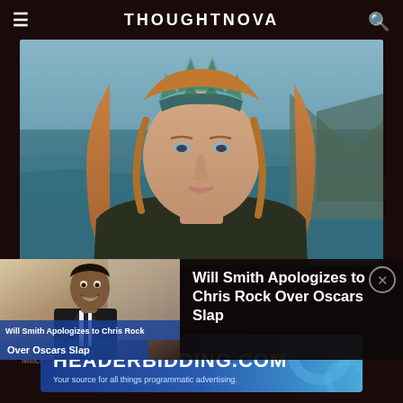THOUGHTNOVA
[Figure (photo): Actress wearing green crown/tiara with auburn hair against ocean/mountain background, appearing in a fantasy/superhero film role]
[Figure (screenshot): Video thumbnail showing Will Smith at what appears to be a red carpet event, with overlay text 'Will Smith Apologizes to Chris Rock Over Oscars Slap']
Will Smith Apologizes to Chris Rock Over Oscars Slap
Milica Jaric • Published on August 11, 2022
[Figure (other): Advertisement banner for HEADERBIDDING.COM - Your source for all things programmatic advertising]